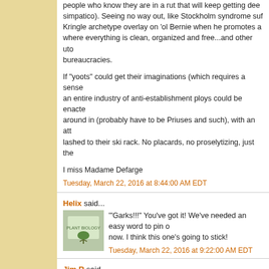people who know they are in a rut that will keep getting deeper (simpatico). Seeing no way out, like Stockholm syndrome suf... Kringle archetype overlay on 'ol Bernie when he promotes a ... where everything is clean, organized and free...and other uto... bureaucracies.
If "yoots" could get their imaginations (which requires a sense... an entire industry of anti-establishment ploys could be enacte... around in (probably have to be Priuses and such), with an att... lashed to their ski rack. No placards, no proselytizing, just the...
I miss Madame Defarge
Tuesday, March 22, 2016 at 8:44:00 AM EDT
Helix said...
'"Garks!!!" You've got it! We've needed an easy word to pin o... now. I think this one's going to stick!
Tuesday, March 22, 2016 at 9:22:00 AM EDT
Jim R said...
.. and there was 'Electric Yerevan', where they blocked traffic... then everyone just went home. Except for being a satellite of... anything worth stealing in Armenia.
Excellent essay, Dmitry! Thank you for once again sharing yo...
Tuesday, March 22, 2016 at 11:25:00 AM EDT